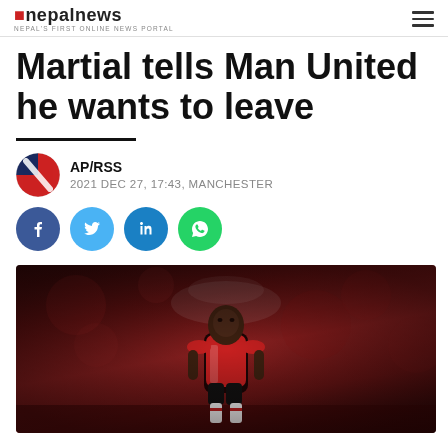Nepal News — NEPAL'S FIRST ONLINE NEWS PORTAL
Martial tells Man United he wants to leave
AP/RSS
2021 DEC 27, 17:43, MANCHESTER
[Figure (other): Social media share buttons: Facebook, Twitter, LinkedIn, WhatsApp]
[Figure (photo): Photo of Anthony Martial in a Manchester United red jersey, looking upward, with atmospheric bokeh background in dark red tones and visible breath mist]